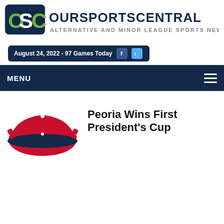[Figure (logo): OurSportsCentral logo - OSC letters with 'OURSPORTSCENTRAL' text and tagline 'ALTERNATIVE AND MINOR LEAGUE SPORTS NEWS']
August 24, 2022 - 97 Games Today
MENU
[Figure (logo): Peoria team logo - baseball cap with crossed bats on red background]
Peoria Wins First President's Cup